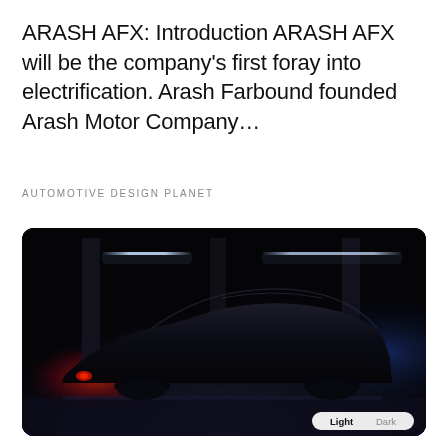ARASH AFX: Introduction ARASH AFX will be the company's first foray into electrification. Arash Farbound founded Arash Motor Company...
AUTOMOTIVE DESIGN PLANET
[Figure (photo): Dark teaser photograph of a low-slung sports car silhouette in a dimly lit parking structure. The car is seen from the side, nearly entirely in shadow. Red tail light visible on the left rear. Overhead linear LED strips illuminate the ceiling. A light/dark mode toggle pill button is visible in the bottom-right corner of the image.]